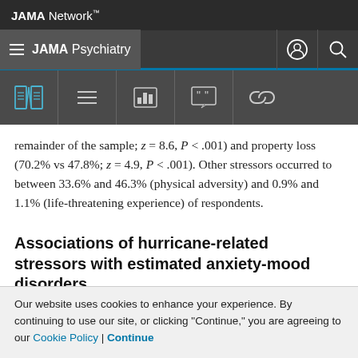JAMA Network
JAMA Psychiatry
remainder of the sample; z = 8.6, P < .001) and property loss (70.2% vs 47.8%; z = 4.9, P < .001). Other stressors occurred to between 33.6% and 46.3% (physical adversity) and 0.9% and 1.1% (life-threatening experience) of respondents.
Associations of hurricane-related stressors with estimated anxiety-mood disorders
Our website uses cookies to enhance your experience. By continuing to use our site, or clicking "Continue," you are agreeing to our Cookie Policy | Continue